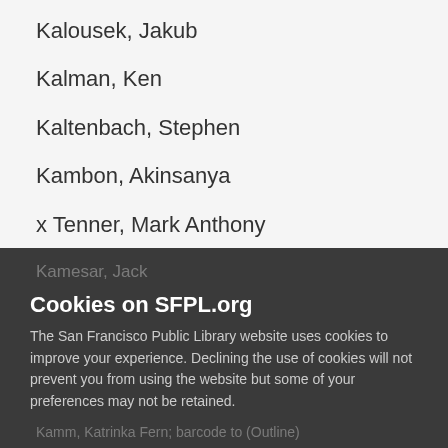Kalousek, Jakub
Kalman, Ken
Kaltenbach, Stephen
Kambon, Akinsanya
x Tenner, Mark Anthony
Kamesar, Jack
Cookies on SFPL.org
The San Francisco Public Library website uses cookies to improve your experience. Declining the use of cookies will not prevent you from using the website but some of your preferences may not be retained.
Decline
Accept
Kamm, Katrinka Fern; barcode to (Outline)